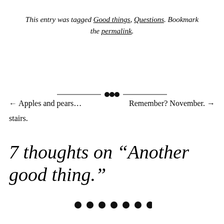This entry was tagged Good things, Questions. Bookmark the permalink.
[Figure (illustration): Decorative horizontal divider with a diamond ornament in the center]
← Apples and pears…    Remember? November. →
stairs.
7 thoughts on “Another good thing.”
[Figure (illustration): Seven decorative dots in a row]